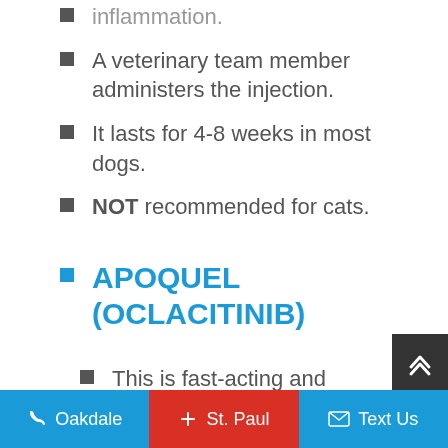inflammation.
A veterinary team member administers the injection.
It lasts for 4-8 weeks in most dogs.
NOT recommended for cats.
APOQUEL (OCLACITINIB)
This is fast-acting and frequently effective for itching.
It is not always helpful
Oakdale   +  St. Paul   Text Us